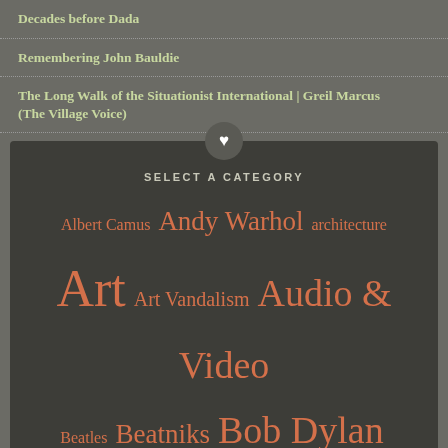Decades before Dada
Remembering John Bauldie
The Long Walk of the Situationist International | Greil Marcus (The Village Voice)
SELECT A CATEGORY
Albert Camus  Andy Warhol  architecture  Art  Art Vandalism  Audio & Video  Beatles  Beatniks  Bob Dylan  Bournemouth  Coffee Bars  Counterculture  Dadaism  David Bowie  Film  Florence  Gram Parsons  Gypsy Jazz  Italy  Jack Kerouac  jazz  John Cage  John Lennon  Leicester  Leonard Cohen  Literature  Liverpool  London  Love